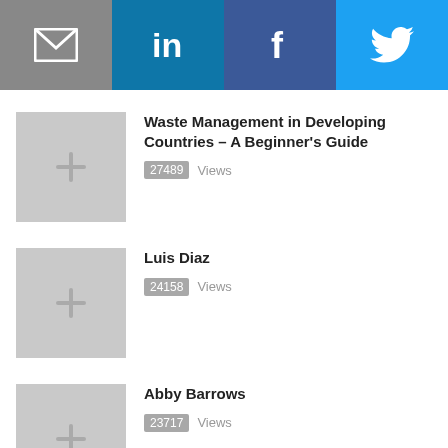[Figure (infographic): Social sharing bar with four icons: email (grey), LinkedIn (blue), Facebook (dark blue), Twitter (light blue)]
Waste Management in Developing Countries – A Beginner's Guide | 27489 Views
Luis Diaz | 24158 Views
Abby Barrows | 23717 Views
Integrating the Informal Waste Recycling Sector in Latin America | 22379 Views
Bilikiss Adebiyi | 22071 Views